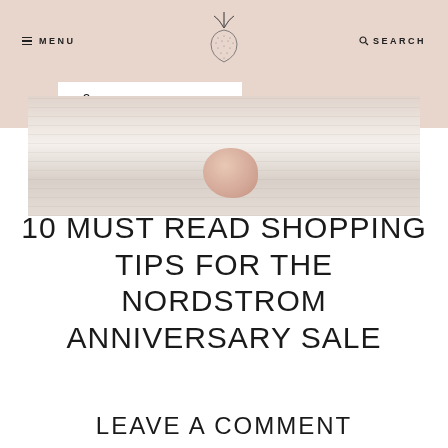MENU | [strawberry logo] | SEARCH
SHOP THE LATEST
[Figure (photo): Marble surface with peach/beige colored object, light and airy lifestyle photo]
10 MUST READ SHOPPING TIPS FOR THE NORDSTROM ANNIVERSARY SALE
LEAVE A COMMENT